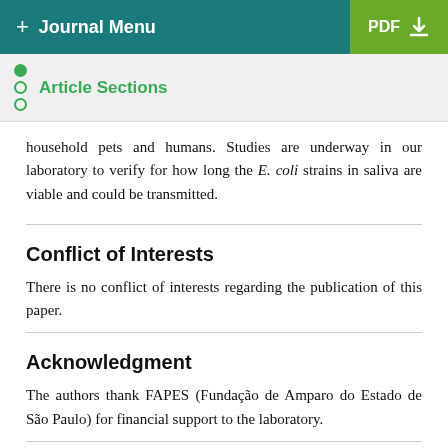+ Journal Menu  PDF ↓
Article Sections
household pets and humans. Studies are underway in our laboratory to verify for how long the E. coli strains in saliva are viable and could be transmitted.
Conflict of Interests
There is no conflict of interests regarding the publication of this paper.
Acknowledgment
The authors thank FAPES (Fundação de Amparo do Estado de São Paulo) for financial support to the laboratory.
References